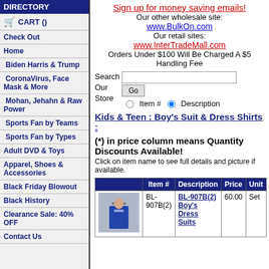DIRECTORY
CART ()
Check Out
Home
Biden Harris & Trump
CoronaVirus, Face Mask & More
Mohan, Jehahn & Raw Power
Sports Fan by Teams
Sports Fan by Types
Adult DVD & Toys
Apparel, Shoes & Accessories
Black Friday Blowout
Black History
Clearance Sale: 40% OFF
Contact Us
Sign up for money saving emails! Our other wholesale site: www.BulkOn.com Our retail sites: www.InterTradeMall.com Orders Under $100 Will Be Charged A $5 Handling Fee
Search Our Store Go Item # Description
Kids & Teen : Boy's Suit & Dress Shirts :
(*) in price column means Quantity Discounts Available! Click on item name to see full details and picture if available.
|  | Item # | Description | Price | Unit |
| --- | --- | --- | --- | --- |
| [image] | BL-907B(2) | BL-907B(2) Boy's Dress Suits | 60.00 | Set |